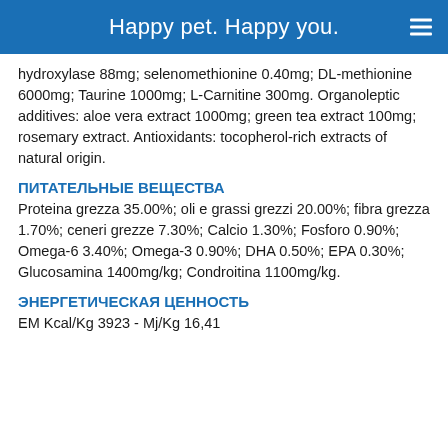Happy pet. Happy you.
hydroxylase 88mg; selenomethionine 0.40mg; DL-methionine 6000mg; Taurine 1000mg; L-Carnitine 300mg. Organoleptic additives: aloe vera extract 1000mg; green tea extract 100mg; rosemary extract. Antioxidants: tocopherol-rich extracts of natural origin.
ПИТАТЕЛЬНЫЕ ВЕЩЕСТВА
Proteina grezza 35.00%; oli e grassi grezzi 20.00%; fibra grezza 1.70%; ceneri grezze 7.30%; Calcio 1.30%; Fosforo 0.90%; Omega-6 3.40%; Omega-3 0.90%; DHA 0.50%; EPA 0.30%; Glucosamina 1400mg/kg; Condroitina 1100mg/kg.
ЭНЕРГЕТИЧЕСКАЯ ЦЕННОСТЬ
EM Kcal/Kg 3923 - Mj/Kg 16,41